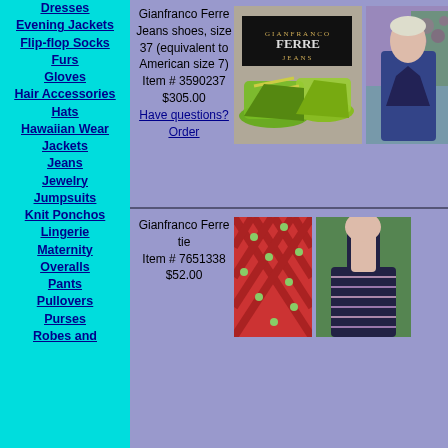Dresses
Evening Jackets
Flip-flop Socks
Furs
Gloves
Hair Accessories
Hats
Hawaiian Wear
Jackets
Jeans
Jewelry
Jumpsuits
Knit Ponchos
Lingerie
Maternity
Overalls
Pants
Pullovers
Purses
Robes and
Gianfranco Ferre Jeans shoes, size 37 (equivalent to American size 7) Item # 3590237 $305.00 Have questions? Order
[Figure (photo): Photo of green Gianfranco Ferre Jeans wedge sandals on display with brand sign]
[Figure (photo): Photo of person wearing navy blazer outdoors with purple flowers in background]
Gianfranco Ferre tie Item # 7651338 $52.00
[Figure (photo): Close-up photo of red patterned Gianfranco Ferre tie]
[Figure (photo): Photo of person wearing dark striped top]